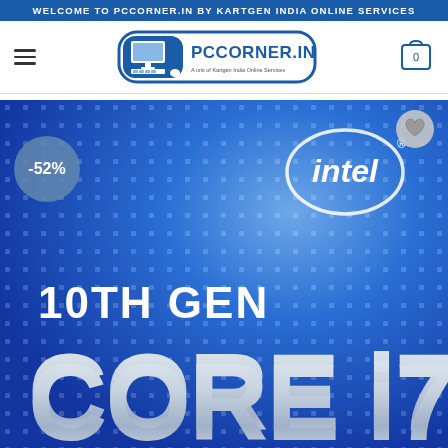WELCOME TO PCCORNER.IN BY KARTGEN INDIA ONLINE SERVICES
[Figure (logo): PCCorner.in logo with computer icon and text 'PCCORNER.IN - A unit of Kartgen India Online Services']
[Figure (screenshot): Intel 10th Gen Core i7 processor product image with blue background, -52% discount badge, Intel logo, and wishlist heart button]